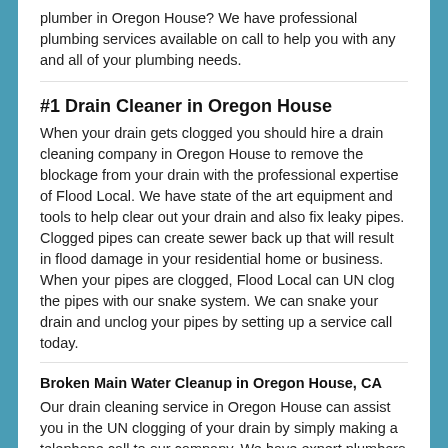plumber in Oregon House? We have professional plumbing services available on call to help you with any and all of your plumbing needs.
#1 Drain Cleaner in Oregon House
When your drain gets clogged you should hire a drain cleaning company in Oregon House to remove the blockage from your drain with the professional expertise of Flood Local. We have state of the art equipment and tools to help clear out your drain and also fix leaky pipes. Clogged pipes can create sewer back up that will result in flood damage in your residential home or business. When your pipes are clogged, Flood Local can UN clog the pipes with our snake system. We can snake your drain and unclog your pipes by setting up a service call today.
Broken Main Water Cleanup in Oregon House, CA
Our drain cleaning service in Oregon House can assist you in the UN clogging of your drain by simply making a telephone call to our company. We have expert plumbers on staff that can assess the problem and fix your clogged drain on the spot. Toilet paper and paper towel build up are the usual reason for the clog or back up of a drain. With